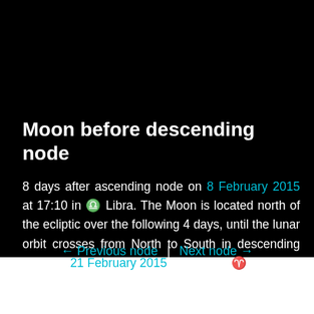Moon before descending node
8 days after ascending node on 8 February 2015 at 17:10 in ♎ Libra. The Moon is located north of the ecliptic over the following 4 days, until the lunar orbit crosses from North to South in descending node on 21 February 2015 at 16:05 in ♈ Aries.
← Previous node  |  Next node →